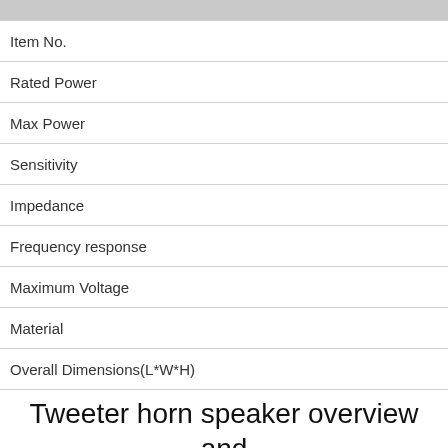|  |  |
| --- | --- |
| Item No. |  |
| Rated Power |  |
| Max Power |  |
| Sensitivity |  |
| Impedance |  |
| Frequency response |  |
| Maximum Voltage |  |
| Material |  |
| Overall Dimensions(L*W*H) |  |
Tweeter horn speaker overview and application
Tweeter is mainly divided into Piezo Tweeter and Neodymium Magnet tweeter. This is distinguished by structure. In terms of service